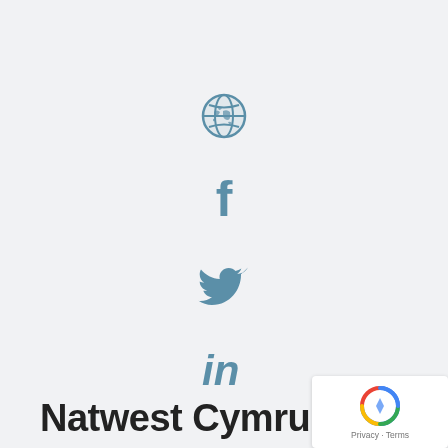[Figure (illustration): Globe/website icon, steel blue color]
[Figure (illustration): Facebook 'f' icon, steel blue color]
[Figure (illustration): Twitter bird icon, steel blue color]
[Figure (illustration): LinkedIn 'in' icon, steel blue color]
Natwest Cymru
[Figure (other): reCAPTCHA widget with Privacy and Terms text]